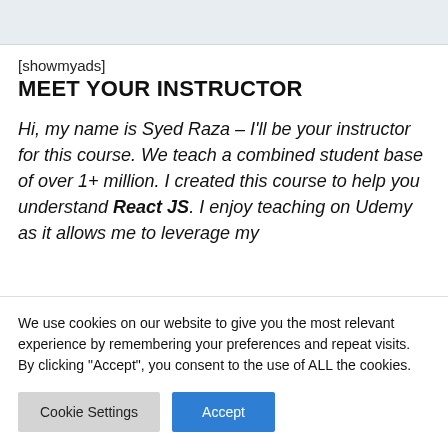[Figure (screenshot): Gray banner area at top of page]
[showmyads]
MEET YOUR INSTRUCTOR
Hi, my name is Syed Raza – I'll be your instructor for this course. We teach a combined student base of over 1+ million. I created this course to help you understand React JS. I enjoy teaching on Udemy as it allows me to leverage my
We use cookies on our website to give you the most relevant experience by remembering your preferences and repeat visits. By clicking "Accept", you consent to the use of ALL the cookies.